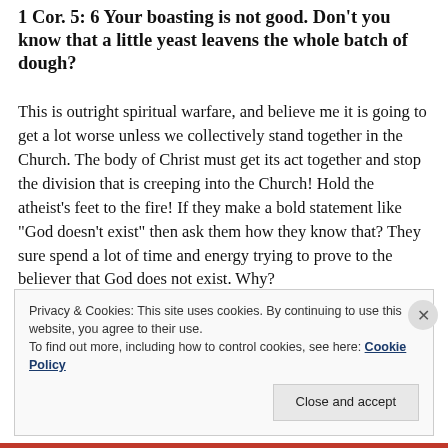1 Cor. 5: 6 Your boasting is not good. Don't you know that a little yeast leavens the whole batch of dough?
This is outright spiritual warfare, and believe me it is going to get a lot worse unless we collectively stand together in the Church. The body of Christ must get its act together and stop the division that is creeping into the Church! Hold the atheist’s feet to the fire! If they make a bold statement like “God doesn’t exist” then ask them how they know that? They sure spend a lot of time and energy trying to prove to the believer that God does not exist. Why?
Privacy & Cookies: This site uses cookies. By continuing to use this website, you agree to their use.
To find out more, including how to control cookies, see here: Cookie Policy
Close and accept